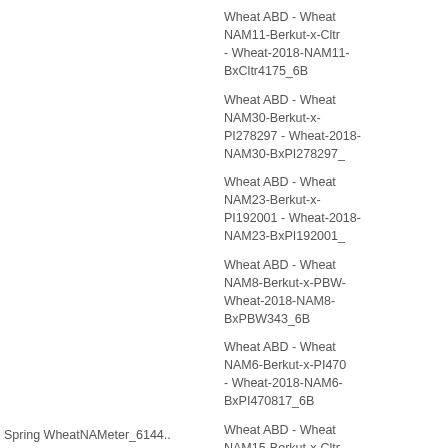Wheat ABD - Wheat NAM11-Berkut-x-Cltr - Wheat-2018-NAM11-BxCltr4175_6B
Wheat ABD - Wheat NAM30-Berkut-x-PI278297 - Wheat-2018-NAM30-BxPI278297
Wheat ABD - Wheat NAM23-Berkut-x-PI192001 - Wheat-2018-NAM23-BxPI192001
Wheat ABD - Wheat NAM8-Berkut-x-PBW - Wheat-2018-NAM8-BxPBW343_6B
Wheat ABD - Wheat NAM6-Berkut-x-PI47 - Wheat-2018-NAM6-BxPI470817_6B
Wheat ABD - Wheat NAM15-Berkut-x-Cltr - Wheat-2018-NAM15-BxCltr7635_6B
Wheat ABD - Wheat NAM19-Berkut-x-PI...
Spring WheatNAMeter_6144...